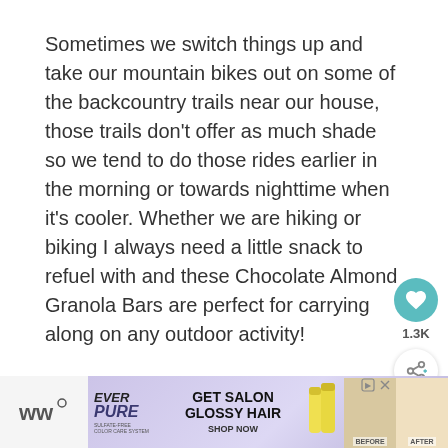Sometimes we switch things up and take our mountain bikes out on some of the backcountry trails near our house, those trails don't offer as much shade so we tend to do those rides earlier in the morning or towards nighttime when it's cooler. Whether we are hiking or biking I always need a little snack to refuel with and these Chocolate Almond Granola Bars are perfect for carrying along on any outdoor activity!
[Figure (other): Teal/cyan circular like (heart) button with count 1.3K below it, and a circular share button below that]
[Figure (other): What's Next panel showing a food image thumbnail and text 'Pear Almond Steel Cut...']
[Figure (other): Advertisement banner for EverPure sulfate-free hair care: GET SALON GLOSSY HAIR SHOP NOW, with before/after hair images]